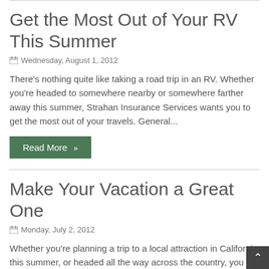Get the Most Out of Your RV This Summer
Wednesday, August 1, 2012
There's nothing quite like taking a road trip in an RV. Whether you're headed to somewhere nearby or somewhere farther away this summer, Strahan Insurance Services wants you to get the most out of your travels. General...
Read More »
Make Your Vacation a Great One
Monday, July 2, 2012
Whether you're planning a trip to a local attraction in California this summer, or headed all the way across the country, you want your vacation to be relaxing. It's a getaway from work, not to mention your